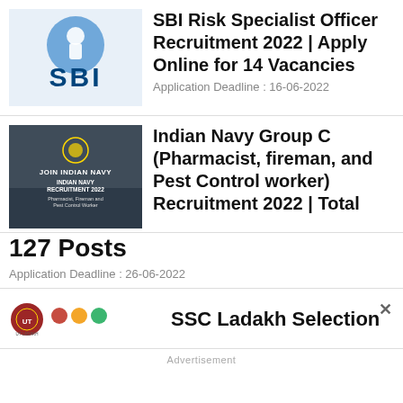[Figure (logo): SBI (State Bank of India) logo with blue circular emblem and SBI text]
SBI Risk Specialist Officer Recruitment 2022 | Apply Online for 14 Vacancies
Application Deadline : 16-06-2022
[Figure (photo): Indian Navy Recruitment 2022 banner showing navy personnel with text JOIN INDIAN NAVY, INDIAN NAVY RECRUITMENT 2022, Pharmacist, Fireman and Pest Control Worker]
Indian Navy Group C (Pharmacist, fireman, and Pest Control worker) Recruitment 2022 | Total 127 Posts
Application Deadline : 26-06-2022
[Figure (logo): SSC Ladakh Selection logos/emblems]
SSC Ladakh Selection
Advertisement